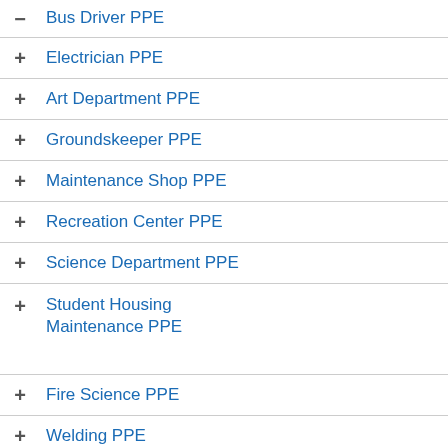Bus Driver PPE
Electrician PPE
Art Department PPE
Groundskeeper PPE
Maintenance Shop PPE
Recreation Center PPE
Science Department PPE
Student Housing Maintenance PPE
Fire Science PPE
Welding PPE
Maintenance PPE
pus Security PPE